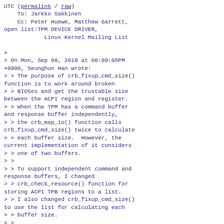UTC (permalink / raw)
    To: Jarkko Sakkinen
    Cc: Peter Huewe, Matthew Garrett, open list:TPM DEVICE DRIVER,
            Linux Kernel Mailing List

>
> On Mon, Sep 09, 2019 at 06:09:05PM +0900, Seunghun Han wrote:
> > The purpose of crb_fixup_cmd_size() function is to work around broken
> > BIOSes and get the trustable size between the ACPI region and register.
> > When the TPM has a command buffer and response buffer independently,
> > the crb_map_io() function calls crb_fixup_cmd_size() twice to calculate
> > each buffer size.  However, the current implementation of it considers
> > one of two buffers.
> >
> > To support independent command and response buffers, I changed
> > crb_check_resource() function for storing ACPI TPB regions to a list.
> > I also changed crb_fixup_cmd_size() to use the list for calculating each
> > buffer size.
> >
> > Signed-off-by: Seunghun Han